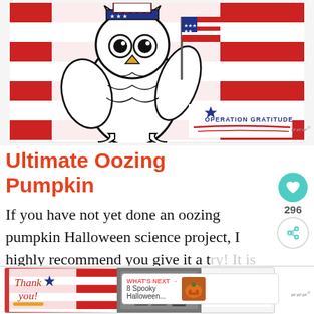[Figure (illustration): Cartoon owl holding an American flag with red and white stripes background, Operation Gratitude logo in lower right]
Ultimate Oozing Pumpkin
If you have not yet done an oozing pumpkin Halloween science project, I highly recommend you give it a try! It is simple but has such a neat disgusting effect...
[Figure (photo): What's Next overlay: 8 Spooky Halloween... thumbnail with food image]
[Figure (illustration): Bottom advertisement banner: Operation Gratitude thank you ad with pencil and soldiers photo]